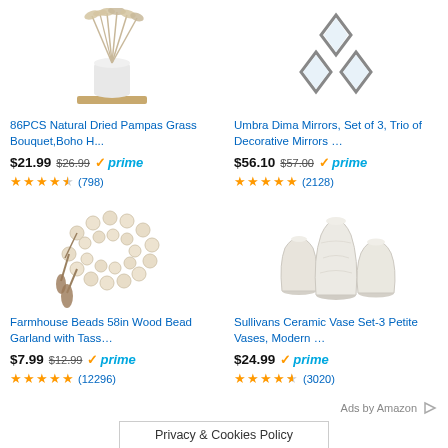[Figure (photo): 86PCS Natural Dried Pampas Grass Bouquet in white vase on wooden stand]
86PCS Natural Dried Pampas Grass Bouquet,Boho H...
$21.99  $26.99  ✓prime
★★★★½ (798)
[Figure (photo): Umbra Dima Mirrors, Set of 3, Trio of Decorative Mirrors - diamond shaped wall mirrors]
Umbra Dima Mirrors, Set of 3, Trio of Decorative Mirrors ...
$56.10  $57.00  ✓prime
★★★★★ (2128)
[Figure (photo): Farmhouse Beads 58in Wood Bead Garland with tassels]
Farmhouse Beads 58in Wood Bead Garland with Tass...
$7.99  $12.99  ✓prime
★★★★★ (12296)
[Figure (photo): Sullivans Ceramic Vase Set - 3 Petite Vases, Modern white ceramic vases]
Sullivans Ceramic Vase Set-3 Petite Vases, Modern ...
$24.99  ✓prime
★★★★½ (3020)
Ads by Amazon
Privacy & Cookies Policy